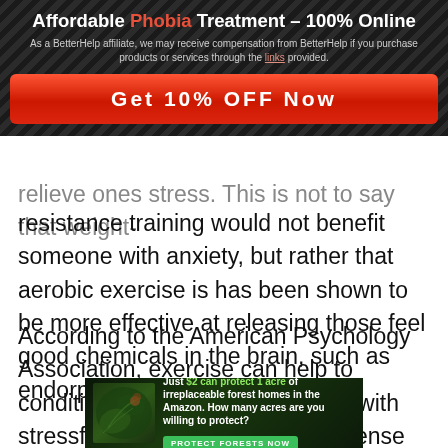Affordable Phobia Treatment – 100% Online
As a BetterHelp affiliate, we may receive compensation from BetterHelp if you purchase products or services through the links provided.
Get 10% OFF Now
relieve ones stress. This is not to say that weight-resistance training would not benefit someone with anxiety, but rather that aerobic exercise is has been shown to be more effective at releasing those feel good chemicals in the brain, such as endorphins.
According to the American Psychology Association, exercise can help to condition the mind to better cope with stressful situations. This makes sense when we take into consideration
[Figure (infographic): Bottom advertisement banner: green forest background with bird/leaf imagery, text 'Just $2 can protect 1 acre of irreplaceable forest homes in the Amazon. How many acres are you willing to protect?' with green 'PROTECT FORESTS NOW' button.]